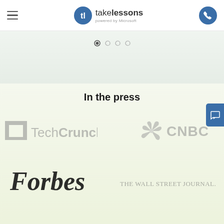takelessons powered by Microsoft
[Figure (screenshot): Carousel pagination dots — one filled circle and three empty circles]
In the press
[Figure (logo): TechCrunch logo in gray]
[Figure (logo): CNBC logo with peacock icon in gray]
[Figure (logo): Forbes logo in black serif font]
[Figure (logo): The Wall Street Journal logo in gray]